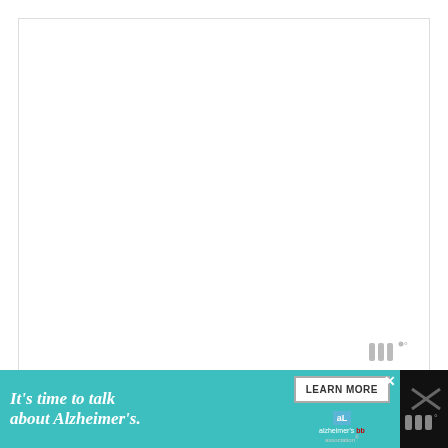[Figure (other): Large white blank content area with a thin border, mostly empty white space, with a small watermark/logo mark in the lower-right corner showing stylized 'm' characters with a degree symbol]
[Figure (infographic): Advertisement banner for Alzheimer's Association: teal background with white italic text 'It's time to talk about Alzheimer's.' with a 'LEARN MORE' button and Alzheimer's Association logo on a dark right panel with X close button]